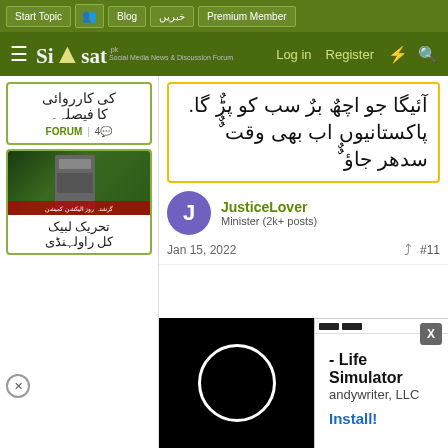Start Topic | [icon] | Blog | خبریں | Premium Member
Siasat.pk — Log in  Register
کی کارروائی کا فیصلہ۔  4 | FORUM
[Figure (photo): Screenshot of a Pakistani news program showing a man in sunglasses holding a flag]
تحریک لبیک کل راولہنڈی
آئیگا جو اچھٌ برٌ سب کو پڑٌ گا. پاکستانیوں اب بھی وقت ٌٌ سدھر جاؤ ٌٌ
JusticeLover
Minister (2k+ posts)
Jan 15, 2022  #11
[Figure (other): Ad overlay: black video player with white circle, and white ad panel showing '- Life Simulator', 'andywriter, LLC', 'Install!']